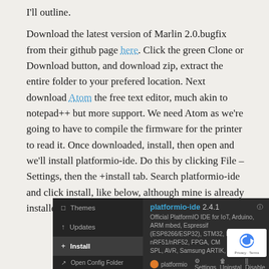I'll outline. Download the latest version of Marlin 2.0.bugfix from their github page here. Click the green Clone or Download button, and download zip, extract the entire folder to your prefered location. Next download Atom the free text editor, much akin to notepad++ but more support. We need Atom as we're going to have to compile the firmware for the printer to read it. Once downloaded, install, then open and we'll install platformio-ide. Do this by clicking File – Settings, then the +install tab. Search platformio-ide and click install, like below, although mine is already installed.
[Figure (screenshot): Screenshot of Atom editor's Settings/Install tab showing platformio-ide 2.4.1 plugin — Official PlatformIO IDE for IoT, Arduino, ARM mbed, Espressif (ESP8266/ESP32), STM32, PIC32, nRF51/nRF52, FPGA, CM SPL, AVR, Samsung ARTIK, libOpenCM3 — with Settings, Uninstall, and Disable buttons.]